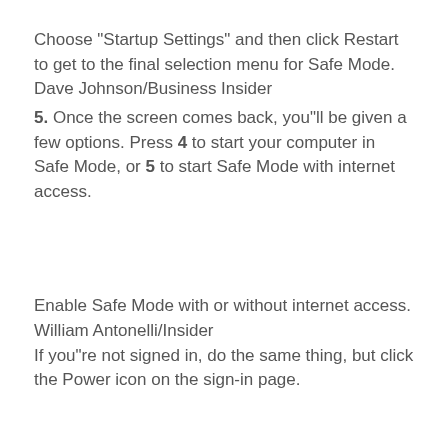Choose "Startup Settings" and then click Restart to get to the final selection menu for Safe Mode. Dave Johnson/Business Insider
5. Once the screen comes back, you"ll be given a few options. Press 4 to start your computer in Safe Mode, or 5 to start Safe Mode with internet access.
Enable Safe Mode with or without internet access. William Antonelli/Insider
If you"re not signed in, do the same thing, but click the Power icon on the sign-in page.